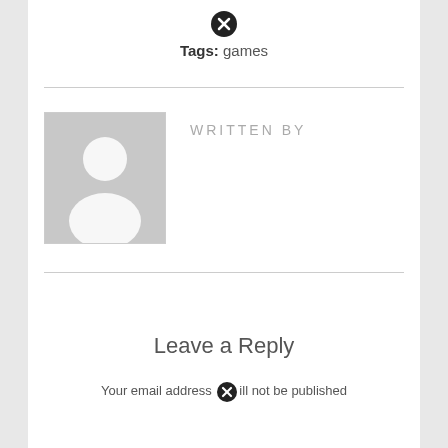[Figure (other): Close/error circle icon (X in black circle)]
Tags: games
WRITTEN BY
[Figure (illustration): Author avatar placeholder — grey box with white silhouette of a person]
Leave a Reply
Your email address will not be published